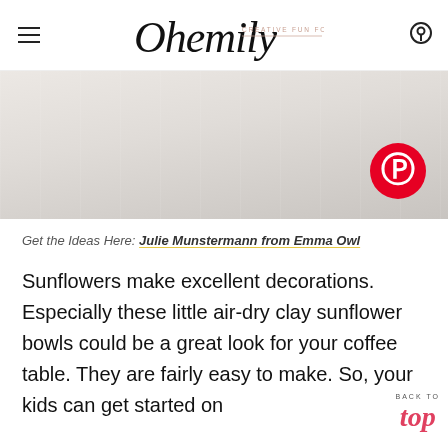Ohemily — CREATIVE FUN FOR EVERYONE
[Figure (photo): Faded/washed-out photo area with a Pinterest share button (red circle with white P logo) in the bottom right corner]
Get the Ideas Here: Julie Munstermann from Emma Owl
Sunflowers make excellent decorations. Especially these little air-dry clay sunflower bowls could be a great look for your coffee table. They are fairly easy to make. So, your kids can get started on